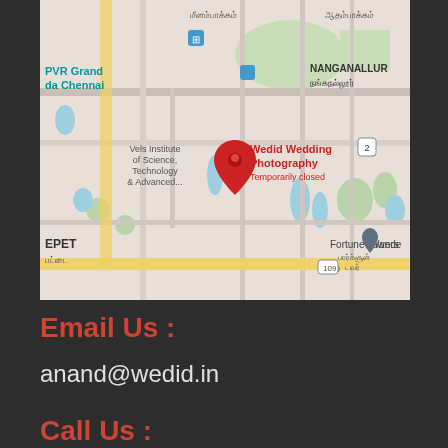[Figure (map): Google Maps screenshot showing location of Wedid Wedding Photography (Temporarily closed) near Nanganallur, Chennai. Shows landmarks: PVR Grand da Chennai, Vels Institute of Science Technology & Advanced, Fortune Towers, road 109, EPET area. Red pin marks the business location.]
Email Us :
anand@wedid.in
Call Us :